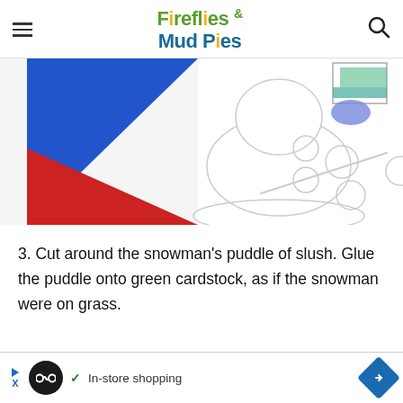Fireflies & Mud Pies
[Figure (photo): Partial view of a craft activity showing blue and red tangram-like paper shapes on the left, and a white snowman outline template with coloring tools on the right]
3. Cut around the snowman's puddle of slush. Glue the puddle onto green cardstock, as if the snowman were on grass.
[Figure (other): Advertisement banner: infinity loop icon, checkmark with 'In-store shopping' text, and a blue diamond arrow icon]